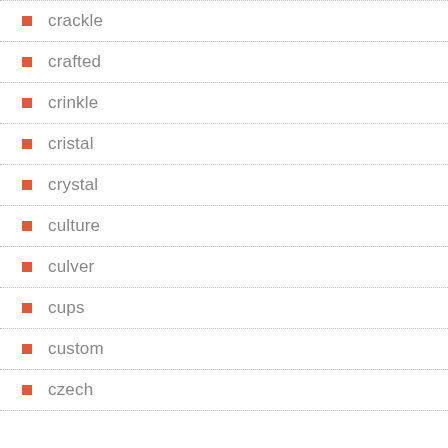crackle
crafted
crinkle
cristal
crystal
culture
culver
cups
custom
czech